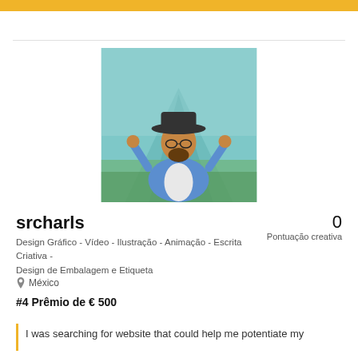[Figure (photo): Profile photo of a man wearing a wide-brim hat and glasses, standing in front of a large mountain/volcano with a city and green landscape below. He is wearing a blue and white shirt and has his hands raised.]
srcharls
0
Pontuação creativa
Design Gráfico - Vídeo - Ilustração - Animação - Escrita Criativa -
Design de Embalagem e Etiqueta
México
#4 Prêmio de € 500
I was searching for website that could help me potentiate my